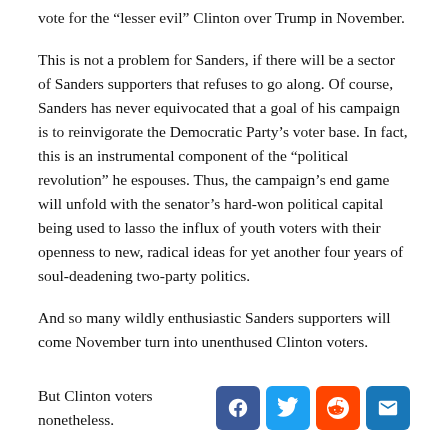vote for the “lesser evil” Clinton over Trump in November.
This is not a problem for Sanders, if there will be a sector of Sanders supporters that refuses to go along. Of course, Sanders has never equivocated that a goal of his campaign is to reinvigorate the Democratic Party’s voter base. In fact, this is an instrumental component of the “political revolution” he espouses. Thus, the campaign’s end game will unfold with the senator’s hard-won political capital being used to lasso the influx of youth voters with their openness to new, radical ideas for yet another four years of soul-deadening two-party politics.
And so many wildly enthusiastic Sanders supporters will come November turn into unenthused Clinton voters.
But Clinton voters nonetheless.